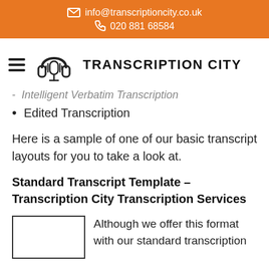info@transcriptioncity.co.uk  020 881 68584
[Figure (logo): Transcription City logo with headphones and microphone icon, hamburger menu icon to the left]
Intelligent Verbatim Transcription
Edited Transcription
Here is a sample of one of our basic transcript layouts for you to take a look at.
Standard Transcript Template – Transcription City Transcription Services
Although we offer this format with our standard transcription